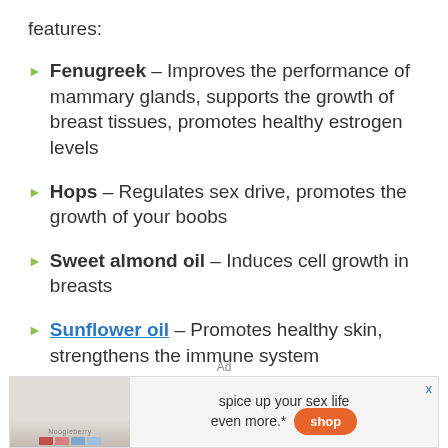features:
Fenugreek – Improves the performance of mammary glands, supports the growth of breast tissues, promotes healthy estrogen levels
Hops – Regulates sex drive, promotes the growth of your boobs
Sweet almond oil – Induces cell growth in breasts
Sunflower oil – Promotes healthy skin, strengthens the immune system
[Figure (infographic): Advertisement banner: product image on left showing a pink/beige product labeled 'Noogleberry', text 'spice up your sex life even more.*', orange shop button, and close X button in top right corner]